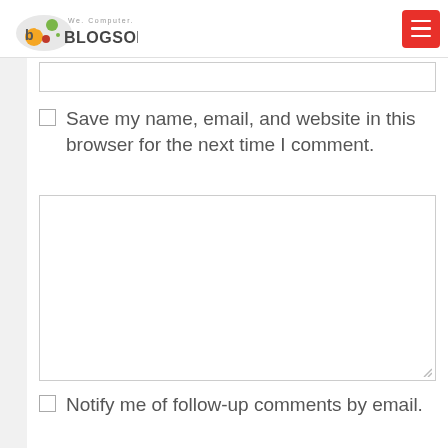[Figure (logo): Blogsolute logo with colored dots and text 'BLOGSOLUTE' and tagline 'We. Computer. People.']
[Figure (other): Red hamburger menu button in top right corner]
Save my name, email, and website in this browser for the next time I comment.
Notify me of follow-up comments by email.
Notify me of new posts by email.